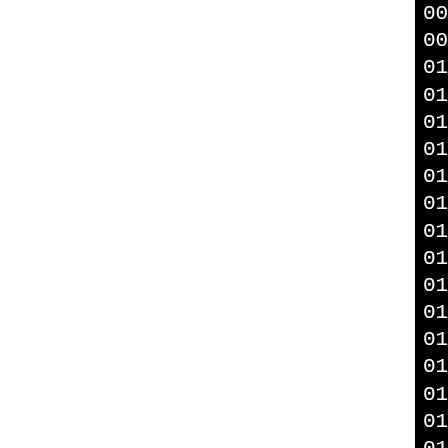00e0 3e 94 a7 db 26 27 6d
00f0 29 b9 c0 82 30 99 c9
0100 76 17 c1 49 7d 47 bf
0110 34 d3 8b 0d b9 1e b8
0120 45 12 a5 a5 2a 4b ad
0130 97 bb 45 9b da d2 94
0140 e9 5b b1 73 cf 5f ab
0150 3d 97 cc ec 1a 32 19
0160 ae 35 c6 ea ac a7 53
0170 7f d2 1d d6 b3 01 20
0180 75 62 de e2 95 09 b5
0190 66 aa ac 4a c5 f2 38
01a0 0f e8 bc 67 5e 82 c3
01b0 19 b8 1b f6 a9 82 74
01c0 a3 20 a0 81 42 92 3c
01d0 29 bb ac dc 1c cd b0
01e0 25 28 f4 ef 78 ee d7
01f0 1d 1c 0a 67 83 e0 11
Ciphertext
0000 72 ef c1 eb fe 1e e2
0010 2b 26 1f 1c 85 bd ab
0020 7a 16 fc 08 e5 26 d4
0030 74 c3 d7 0d ac 57 f8
0040 cb 02 1c 3e 70 08 5a